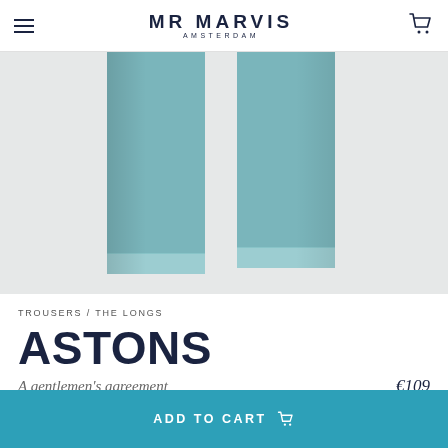MR MARVIS AMSTERDAM
[Figure (photo): Two teal/steel-blue trouser legs (The Longs) photographed from the knee down against a light grey background, showing the hem detail.]
TROUSERS / THE LONGS
ASTONS
A gentlemen's agreement   €109
ADD TO CART